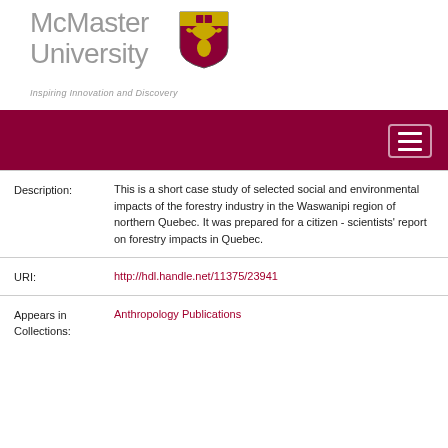[Figure (logo): McMaster University logo with coat of arms shield and tagline 'Inspiring Innovation and Discovery']
[Figure (screenshot): Dark red navigation bar with hamburger menu icon]
would require the cooperation and full partnership of the Cree.
| Field | Value |
| --- | --- |
| Description: | This is a short case study of selected social and environmental impacts of the forestry industry in the Waswanipi region of northern Quebec. It was prepared for a citizen - scientists' report on forestry impacts in Quebec. |
| URI: | http://hdl.handle.net/11375/23941 |
| Appears in Collections: | Anthropology Publications |